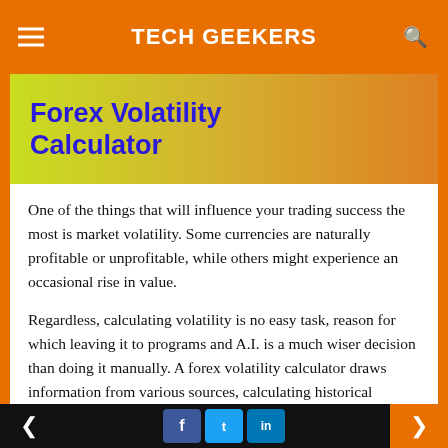TECH GEEKERS
[Figure (illustration): Banner image with gradient background (yellow-green to orange) with title text 'Forex Volatility Calculator' in bold blue]
Forex Volatility Calculator
One of the things that will influence your trading success the most is market volatility. Some currencies are naturally profitable or unprofitable, while others might experience an occasional rise in value.
Regardless, calculating volatility is no easy task, reason for which leaving it to programs and A.I. is a much wiser decision than doing it manually. A forex volatility calculator draws information from various sources, calculating historical exchange rates and volatility.
< f t in >